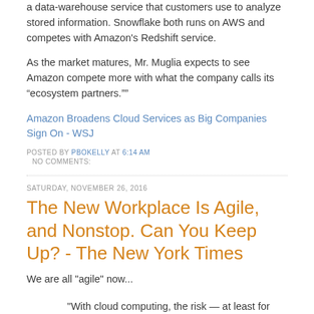a data-warehouse service that customers use to analyze stored information. Snowflake both runs on AWS and competes with Amazon's Redshift service.
As the market matures, Mr. Muglia expects to see Amazon compete more with what the company calls its “ecosystem partners.””
Amazon Broadens Cloud Services as Big Companies Sign On - WSJ
POSTED BY PBOKELLY AT 6:14 AM
NO COMMENTS:
SATURDAY, NOVEMBER 26, 2016
The New Workplace Is Agile, and Nonstop. Can You Keep Up? - The New York Times
We are all "agile" now...
"With cloud computing, the risk — at least for